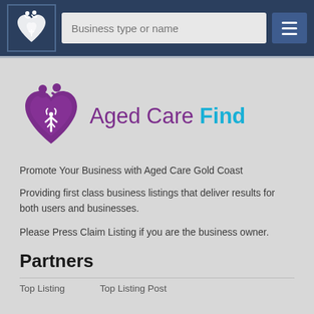Business type or name
[Figure (logo): Aged Care Find logo — purple heart with hand and two figures above, purple text 'Aged Care' and cyan bold text 'Find']
Promote Your Business with Aged Care Gold Coast
Providing first class business listings that deliver results for both users and businesses.
Please Press Claim Listing if you are the business owner.
Partners
Top Listing    Top Listing Post